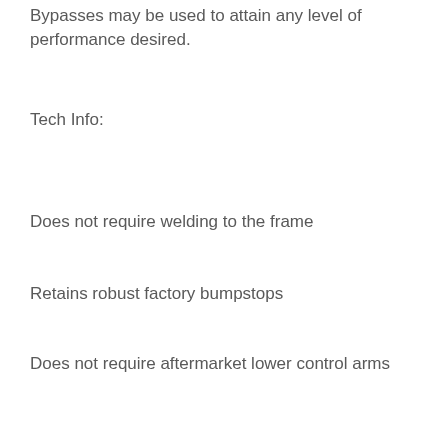Bypasses may be used to attain any level of performance desired.
Tech Info:
Does not require welding to the frame
Retains robust factory bumpstops
Does not require aftermarket lower control arms
Can be purchased in stages
Simple Installation
System Components:
56101 05 – Up Toyota Tacoma LCA Skid Plate Kit